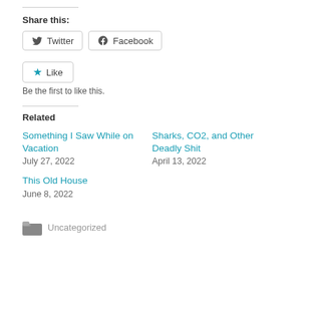Share this:
Twitter  Facebook
Like  Be the first to like this.
Related
Something I Saw While on Vacation
July 27, 2022
Sharks, CO2, and Other Deadly Shit
April 13, 2022
This Old House
June 8, 2022
Uncategorized